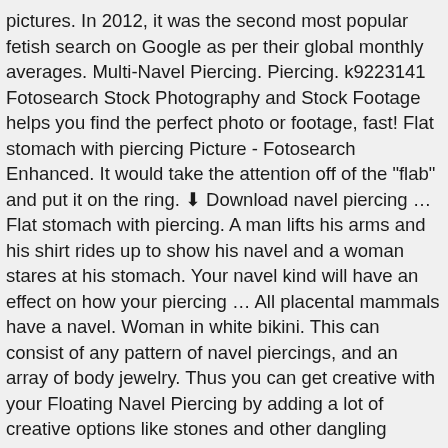pictures. In 2012, it was the second most popular fetish search on Google as per their global monthly averages. Multi-Navel Piercing. Piercing. k9223141 Fotosearch Stock Photography and Stock Footage helps you find the perfect photo or footage, fast! Flat stomach with piercing Picture - Fotosearch Enhanced. It would take the attention off of the "flab" and put it on the ring. ⬇ Download navel piercing … Flat stomach with piercing. A man lifts his arms and his shirt rides up to show his navel and a woman stares at his stomach. Your navel kind will have an effect on how your piercing … All placental mammals have a navel. Woman in white bikini. This can consist of any pattern of navel piercings, and an array of body jewelry. Thus you can get creative with your Floating Navel Piercing by adding a lot of creative options like stones and other dangling jewelry to make it look more awesome. Do your research to find a reputable piercing shop with trained, professional piercers. Navel fetishism, belly button fetishism, or alvinophilia is a partialism in which an individual is attracted to the human navel.. It definitely